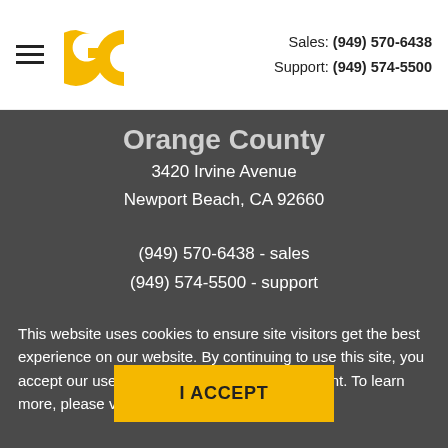GC  Sales: (949) 570-6438  Support: (949) 574-5500
Orange County
3420 Irvine Avenue
Newport Beach, CA 92660
(949) 570-6438 - sales
(949) 574-5500 - support
This website uses cookies to ensure site visitors get the best experience on our website. By continuing to use this site, you accept our use of cookies and Privacy Statement. To learn more, please visit Privacy Statement
I ACCEPT